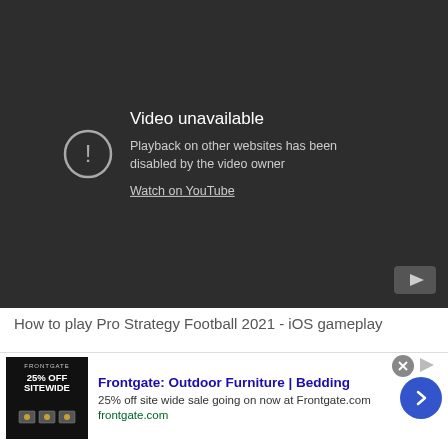[Figure (screenshot): YouTube video embed showing 'Video unavailable' error message with exclamation icon and 'Watch on YouTube' link on a dark background]
How to play Pro Strategy Football 2021 - iOS gameplay
[Figure (screenshot): Advertisement for Frontgate: Outdoor Furniture | Bedding. '25% off site wide sale going on now at Frontgate.com'. Shows ad image with '25% OFF SITEWIDE' text, blue chevron button, and close/info buttons.]